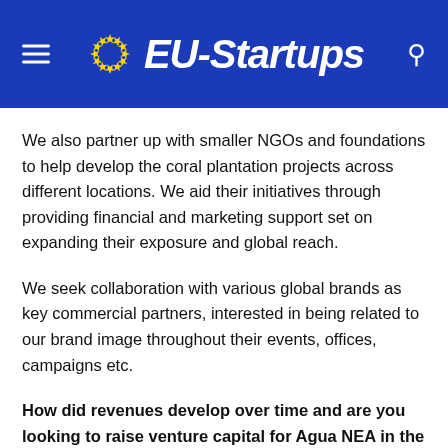EU-Startups
We also partner up with smaller NGOs and foundations to help develop the coral plantation projects across different locations. We aid their initiatives through providing financial and marketing support set on expanding their exposure and global reach.
We seek collaboration with various global brands as key commercial partners, interested in being related to our brand image throughout their events, offices, campaigns etc.
How did revenues develop over time and are you looking to raise venture capital for Agua NEA in the future?